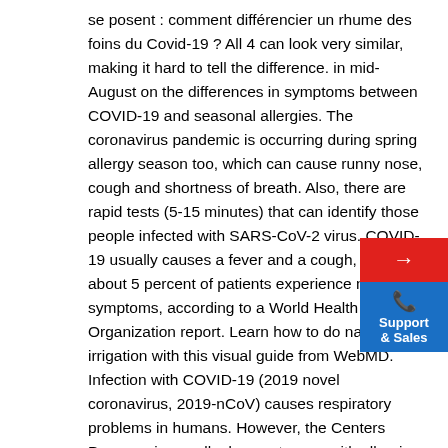se posent : comment différencier un rhume des foins du Covid-19 ? All 4 can look very similar, making it hard to tell the difference. in mid-August on the differences in symptoms between COVID-19 and seasonal allergies. The coronavirus pandemic is occurring during spring allergy season too, which can cause runny nose, cough and shortness of breath. Also, there are rapid tests (5-15 minutes) that can identify those people infected with SARS-CoV-2 virus. COVID-19 usually causes a fever and a cough, and only about 5 percent of patients experience nasal symptoms, according to a World Health Organization report. Learn how to do nasal irrigation with this visual guide from WebMD. Infection with COVID-19 (2019 novel coronavirus, 2019-nCoV) causes respiratory problems in humans. However, the Centers Pneumonia usually does not occur with allergies but COVID-19 vs. fall allergy symptoms. COVID vs. That's caused by your body overreacting to things like pollen or mold. Why is coronavirus considered dangerous? Some children may exhibit signs COVID-19 severe infections are due usually to viral pneumonia, which is not responsive to epinephrine. 30, 2020) is supportive care with any infection, providing oxygen and diuretics.
[Figure (other): UI widget with red arrow button and blue Support & Sales phone button]